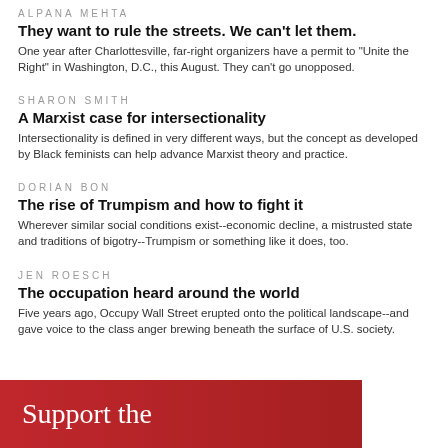ALPANA MEHTA
They want to rule the streets. We can't let them.
One year after Charlottesville, far-right organizers have a permit to "Unite the Right" in Washington, D.C., this August. They can't go unopposed.
SHARON SMITH
A Marxist case for intersectionality
Intersectionality is defined in very different ways, but the concept as developed by Black feminists can help advance Marxist theory and practice.
DORIAN BON
The rise of Trumpism and how to fight it
Wherever similar social conditions exist--economic decline, a mistrusted state and traditions of bigotry--Trumpism or something like it does, too.
JEN ROESCH
The occupation heard around the world
Five years ago, Occupy Wall Street erupted onto the political landscape--and gave voice to the class anger brewing beneath the surface of U.S. society.
[Figure (other): Red banner with white text reading 'Support the']